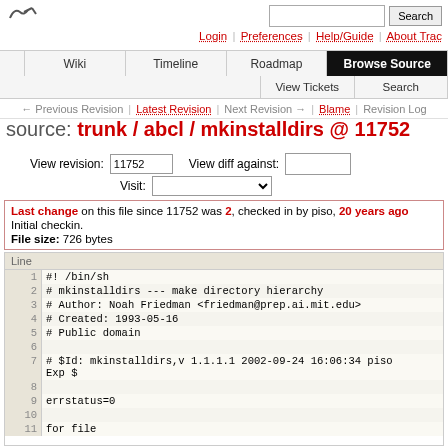source browser - Trac
Login | Preferences | Help/Guide | About Trac
Wiki | Timeline | Roadmap | Browse Source | View Tickets | Search
← Previous Revision | Latest Revision | Next Revision → | Blame | Revision Log
source: trunk / abcl / mkinstalldirs @ 11752
View revision: 11752   View diff against:   Visit:
Last change on this file since 11752 was 2, checked in by piso, 20 years ago
Initial checkin.
File size: 726 bytes
| Line |  |
| --- | --- |
| 1 | #! /bin/sh |
| 2 | # mkinstalldirs --- make directory hierarchy |
| 3 | # Author: Noah Friedman <friedman@prep.ai.mit.edu> |
| 4 | # Created: 1993-05-16 |
| 5 | # Public domain |
| 6 |  |
| 7 | # $Id: mkinstalldirs,v 1.1.1.1 2002-09-24 16:06:34 piso
Exp $ |
| 8 |  |
| 9 | errstatus=0 |
| 10 |  |
| 11 | for file |